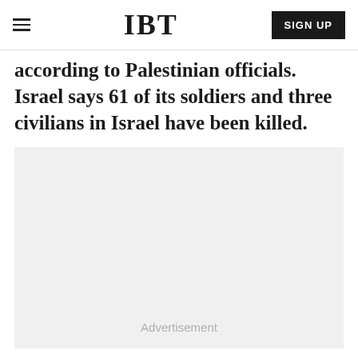IBT | SIGN UP
according to Palestinian officials. Israel says 61 of its soldiers and three civilians in Israel have been killed.
[Figure (other): Advertisement placeholder box with light gray background and 'Advertisement' label centered near the bottom.]